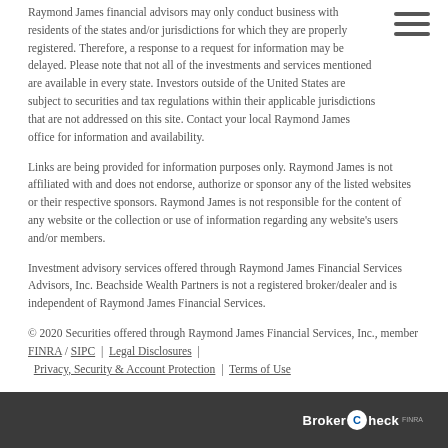Raymond James financial advisors may only conduct business with residents of the states and/or jurisdictions for which they are properly registered. Therefore, a response to a request for information may be delayed. Please note that not all of the investments and services mentioned are available in every state. Investors outside of the United States are subject to securities and tax regulations within their applicable jurisdictions that are not addressed on this site. Contact your local Raymond James office for information and availability.
Links are being provided for information purposes only. Raymond James is not affiliated with and does not endorse, authorize or sponsor any of the listed websites or their respective sponsors. Raymond James is not responsible for the content of any website or the collection or use of information regarding any website's users and/or members.
Investment advisory services offered through Raymond James Financial Services Advisors, Inc. Beachside Wealth Partners is not a registered broker/dealer and is independent of Raymond James Financial Services.
© 2020 Securities offered through Raymond James Financial Services, Inc., member FINRA / SIPC | Legal Disclosures | Privacy, Security & Account Protection | Terms of Use
BrokerCheck